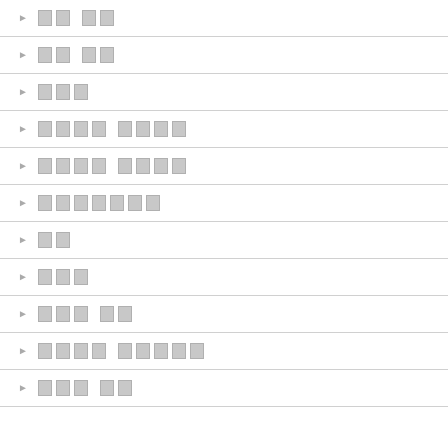[item 1 - 2 chars each, 2 words]
[item 2 - 2 chars each, 2 words]
[item 3 - 3 chars]
[item 4 - 4+4 chars, 2 words]
[item 5 - 4+4 chars, 2 words]
[item 6 - 7 chars]
[item 7 - 2 chars]
[item 8 - 3 chars]
[item 9 - 3+2 chars, 2 words]
[item 10 - 4+5 chars, 2 words]
[item 11 - 3+2 chars, 2 words]